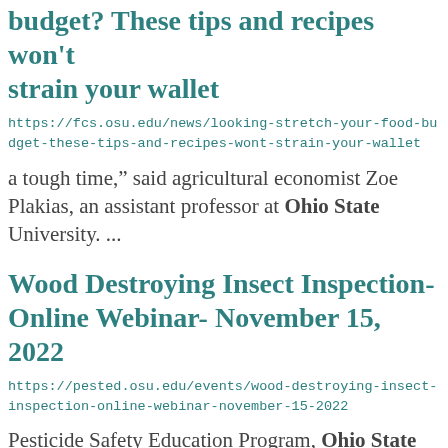budget? These tips and recipes won't strain your wallet
https://fcs.osu.edu/news/looking-stretch-your-food-budget-these-tips-and-recipes-wont-strain-your-wallet
a tough time,” said agricultural economist Zoe Plakias, an assistant professor at Ohio State University. ...
Wood Destroying Insect Inspection- Online Webinar- November 15, 2022
https://pested.osu.edu/events/wood-destroying-insect-inspection-online-webinar-november-15-2022
Pesticide Safety Education Program, Ohio State University Extension, and the Ohio